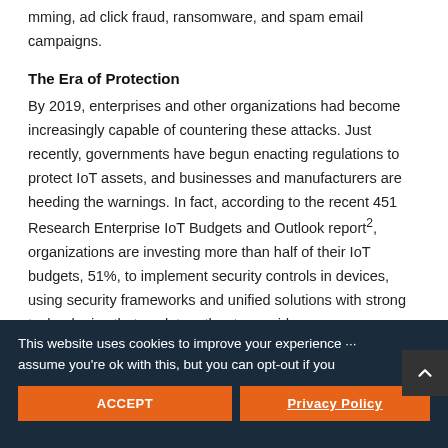mming, ad click fraud, ransomware, and spam email campaigns.
The Era of Protection
By 2019, enterprises and other organizations had become increasingly capable of countering these attacks. Just recently, governments have begun enacting regulations to protect IoT assets, and businesses and manufacturers are heeding the warnings. In fact, according to the recent 451 Research Enterprise IoT Budgets and Outlook report², organizations are investing more than half of their IoT budgets, 51%, to implement security controls in devices, using security frameworks and unified solutions with strong technologies that work together to provide
This website uses cookies to improve your experience ... assume you're ok with this, but you can opt-out if you
ACCEPT
Privacy Policy